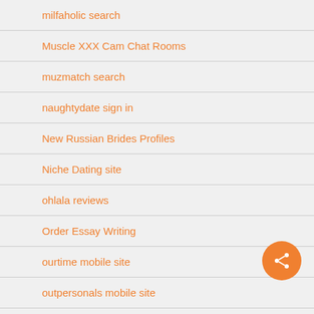milfaholic search
Muscle XXX Cam Chat Rooms
muzmatch search
naughtydate sign in
New Russian Brides Profiles
Niche Dating site
ohlala reviews
Order Essay Writing
ourtime mobile site
outpersonals mobile site
Paper Writing Tips